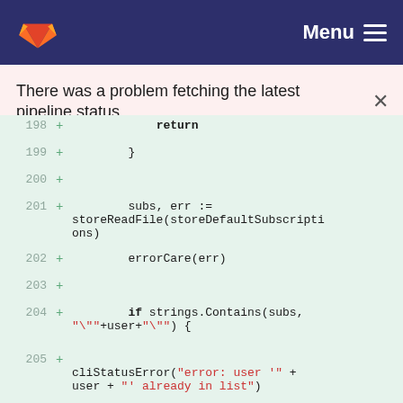GitLab — Menu
There was a problem fetching the latest pipeline status.
[Figure (screenshot): GitLab code diff view showing lines 198-209 with added lines (+) in green background. Lines show Go code: return, closing brace, blank, subs/err assignment with storeReadFile(storeDefaultSubscriptions), errorCare(err), blank, if strings.Contains(subs, '"'+user+'"') {, cliStatusError with error string, return, closing brace, blank, blank.]